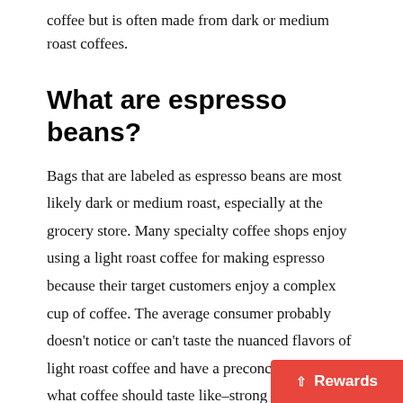coffee but is often made from dark or medium roast coffees.
What are espresso beans?
Bags that are labeled as espresso beans are most likely dark or medium roast, especially at the grocery store. Many specialty coffee shops enjoy using a light roast coffee for making espresso because their target customers enjoy a complex cup of coffee. The average consumer probably doesn't notice or can't taste the nuanced flavors of light roast coffee and have a preconceived idea of what coffee should taste like–strong and bitter–which is a hallmark of dark roast coffee. There is nothing wrong with that, people can enjoy whatever coffee they like. But large companies that sell coffee know that people making co… would probably enjoy a dark roast, so they